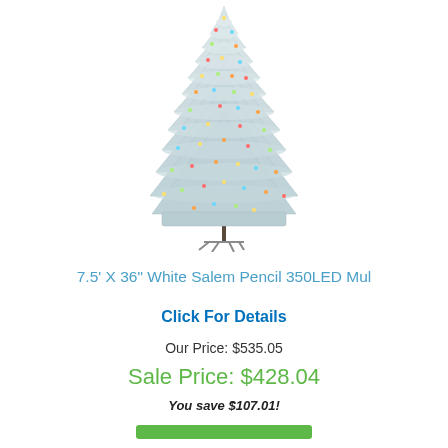[Figure (photo): A tall, slim white/flocked pencil Christmas tree with multicolor LED lights and a metal stand, shown against a white background.]
7.5' X 36" White Salem Pencil 350LED Mul
Click For Details
Our Price: $535.05
Sale Price: $428.04
You save $107.01!